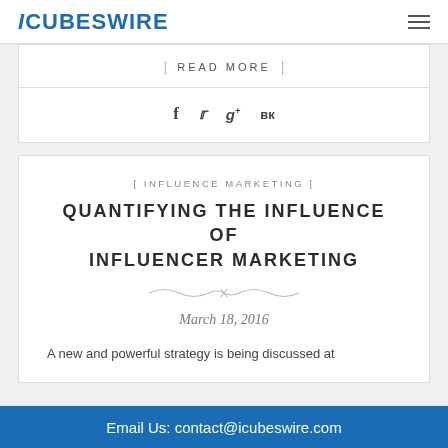iCUBESWiRE
| READ MORE |
[Figure (other): Social share icons: Facebook (f), Twitter, Google+ (g+), VK]
[ INFLUENCE MARKETING ]
QUANTIFYING THE INFLUENCE OF INFLUENCER MARKETING
March 18, 2016
A new and powerful strategy is being discussed at
Email Us: contact@icubeswire.com